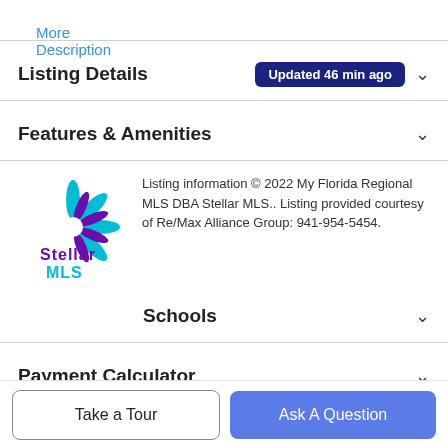More Description
Listing Details  Updated 46 min ago
Features & Amenities
[Figure (logo): Stellar MLS logo with star/snowflake design in teal and purple, with text 'Stellar MLS']
Listing information © 2022 My Florida Regional MLS DBA Stellar MLS.. Listing provided courtesy of Re/Max Alliance Group: 941-954-5454.
Schools
Payment Calculator
Contact Agent
Take a Tour
Ask A Question